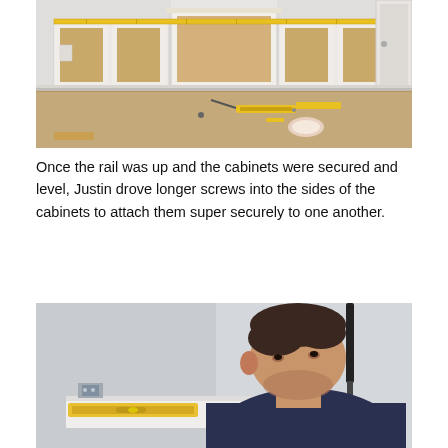[Figure (photo): Photo of white cabinets being installed along a wall in a room with beige carpet. Tools and materials are scattered on the floor. Yellow measuring tools are visible on top of the cabinets.]
Once the rail was up and the cabinets were secured and level, Justin drove longer screws into the sides of the cabinets to attach them super securely to one another.
[Figure (photo): Photo of a man leaning down and looking closely at a cabinet being mounted on a wall. A yellow level tool is visible. He is wearing a dark navy shirt.]